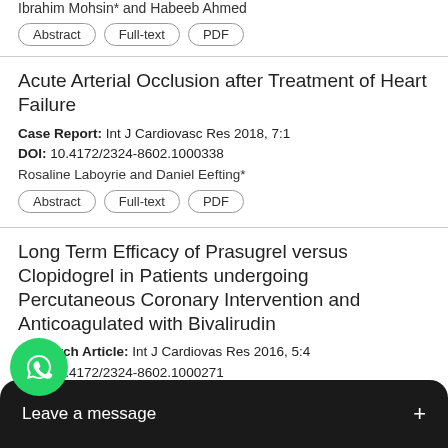Ibrahim Mohsin* and Habeeb Ahmed
Abstract | Full-text | PDF
Acute Arterial Occlusion after Treatment of Heart Failure
Case Report: Int J Cardiovasc Res 2018, 7:1
DOI: 10.4172/2324-8602.1000338
Rosaline Laboyrie and Daniel Eefting*
Abstract | Full-text | PDF
Long Term Efficacy of Prasugrel versus Clopidogrel in Patients undergoing Percutaneous Coronary Intervention and Anticoagulated with Bivalirudin
Research Article: Int J Cardiovas Res 2016, 5:4
DOI: 10.4172/2324-8602.1000271
nin MM, Filardo G, Pollock BD, Sass DM and Schussler